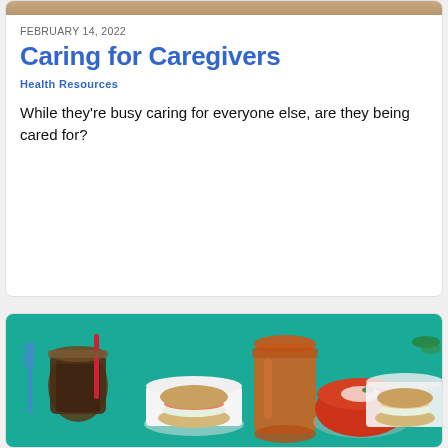[Figure (photo): Partial view of a food photo at top of page, showing baked goods on a tan/brown background]
FEBRUARY 14, 2022
Caring for Caregivers
Health Resources
While they're busy caring for everyone else, are they being cared for?
[Figure (photo): Food spread on teal/green background: mason jar with dark drink and red straw, egg muffin sandwich on white plate, large mason jar with orange/tomato juice, bowl of red soup with cream, another egg muffin sandwich on white plate]